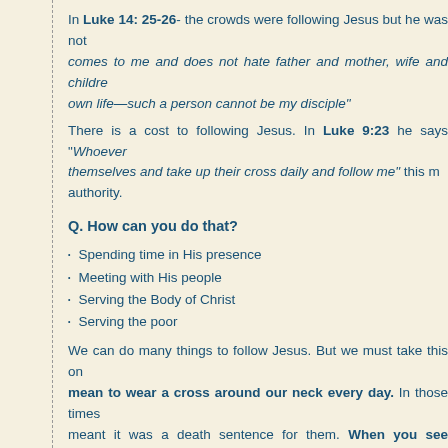In Luke 14: 25-26- the crowds were following Jesus but he was not... comes to me and does not hate father and mother, wife and childre... own life—such a person cannot be my disciple"
There is a cost to following Jesus. In Luke 9:23 he says "Whoever... themselves and take up their cross daily and follow me" this m... authority.
Q. How can you do that?
Spending time in His presence
Meeting with His people
Serving the Body of Christ
Serving the poor
We can do many things to follow Jesus. But we must take this on mean to wear a cross around our neck every day. In those times meant it was a death sentence for them. When you see people ca taking it to burial. That's what carrying a cross means. It means
Q. What does it look like to follow Jesus?
Jesus fasted and prayed. We could do that by joining the week